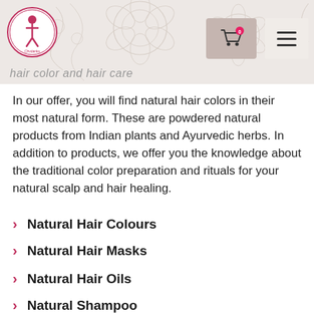In our offer, you will find natural hair colors in their most natural form. These are powdered natural products from Indian plants and Ayurvedic herbs. In addition to products, we offer you the knowledge about the traditional color preparation and rituals for your natural scalp and hair healing.
Natural Hair Colours
Natural Hair Masks
Natural Hair Oils
Natural Shampoo
The skin is one of the biggest parts of our body and it is known that with natural vegetable cosmetic oils people traditionally nourished their